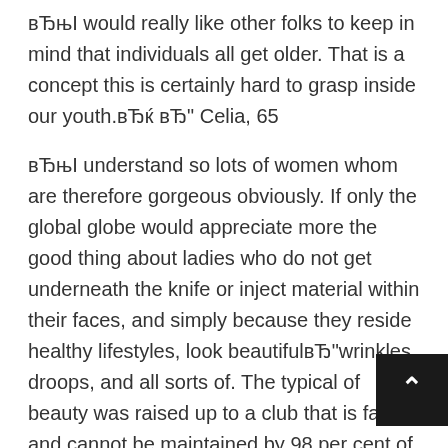вЂњI would really like other folks to keep in mind that individuals all get older. That is a concept this is certainly hard to grasp inside our youth.вЂќ вЂ" Celia, 65
вЂњI understand so lots of women whom are therefore gorgeous obviously. If only the global globe would appreciate more the good thing about ladies who do not get underneath the knife or inject material within their faces, and simply because they reside healthy lifestyles, look beautifulвЂ"wrinkles, droops, and all sorts of. The typical of beauty was raised up to a club that is fake and cannot be maintained by 98 per cent of